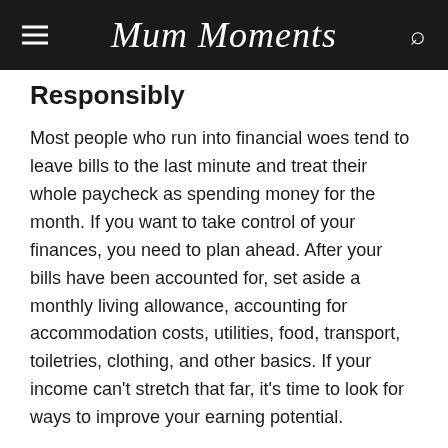Mum Moments
Responsibly
Most people who run into financial woes tend to leave bills to the last minute and treat their whole paycheck as spending money for the month. If you want to take control of your finances, you need to plan ahead. After your bills have been accounted for, set aside a monthly living allowance, accounting for accommodation costs, utilities, food, transport, toiletries, clothing, and other basics. If your income can't stretch that far, it's time to look for ways to improve your earning potential.
Commit To Improving Your Weak Points
Have you figured out that you have a spending problem? Is retail therapy a soothing experience? Or have you been